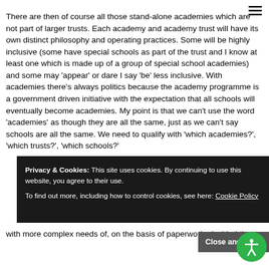There are then of course all those stand-alone academies which are not part of larger trusts. Each academy and academy trust will have its own distinct philosophy and operating practices. Some will be highly inclusive (some have special schools as part of the trust and I know at least one which is made up of a group of special school academies) and some may 'appear' or dare I say 'be' less inclusive. With academies there's always politics because the academy programme is a government driven initiative with the expectation that all schools will eventually become academies. My point is that we can't use the word 'academies' as though they are all the same, just as we can't say schools are all the same. We need to qualify with 'which academies?',  'which trusts?', 'which schools?'
with more complex needs of, on the basis of paperwork, decided that
Privacy & Cookies: This site uses cookies. By continuing to use this website, you agree to their use. To find out more, including how to control cookies, see here: Cookie Policy